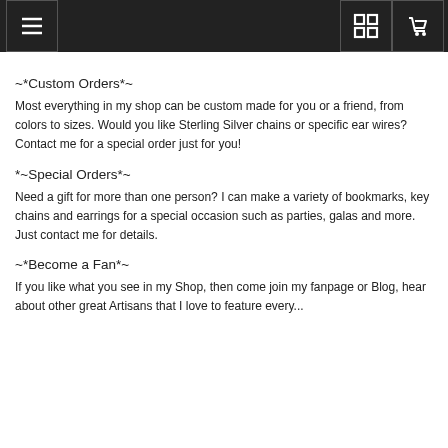Navigation header with menu, grid, and cart icons
~*Custom Orders*~
Most everything in my shop can be custom made for you or a friend, from colors to sizes. Would you like Sterling Silver chains or specific ear wires? Contact me for a special order just for you!
*~Special Orders*~
Need a gift for more than one person? I can make a variety of bookmarks, key chains and earrings for a special occasion such as parties, galas and more. Just contact me for details.
~*Become a Fan*~
If you like what you see in my Shop, then come join my fanpage or Blog, hear about other great Artisans that I love to feature every...